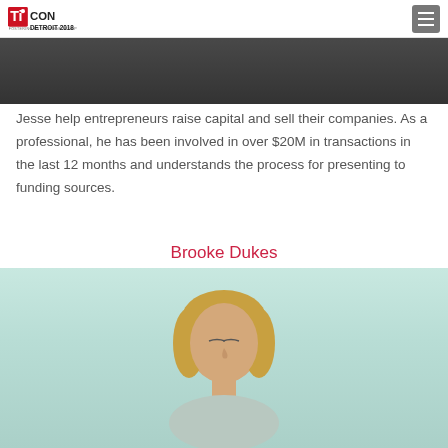TiECON DETROIT 2018
[Figure (photo): Partial photo of a person (cropped at top), dark clothing, upper body visible]
Jesse help entrepreneurs raise capital and sell their companies. As a professional, he has been involved in over $20M in transactions in the last 12 months and understands the process for presenting to funding sources.
Brooke Dukes
[Figure (photo): Photo of Brooke Dukes, a woman with blonde hair, light blue/teal background, head and shoulders visible]